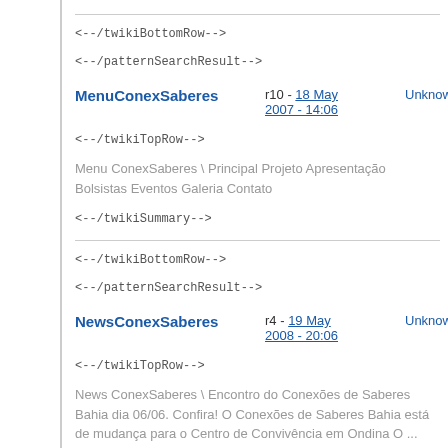<!--/twikiBottomRow-->
<!--/patternSearchResult-->
MenuConexSaberes  r10 - 18 May 2007 - 14:06  UnknownUser
<!--/twikiTopRow-->
Menu ConexSaberes \ Principal Projeto Apresentação Bolsistas Eventos Galeria Contato
<!--/twikiSummary-->
<!--/twikiBottomRow-->
<!--/patternSearchResult-->
NewsConexSaberes  r4 - 19 May 2008 - 20:06  UnknownUser
<!--/twikiTopRow-->
News ConexSaberes \ Encontro do Conexões de Saberes Bahia dia 06/06. Confira! O Conexões de Saberes Bahia está de mudança para o Centro de Convivência em Ondina O ...